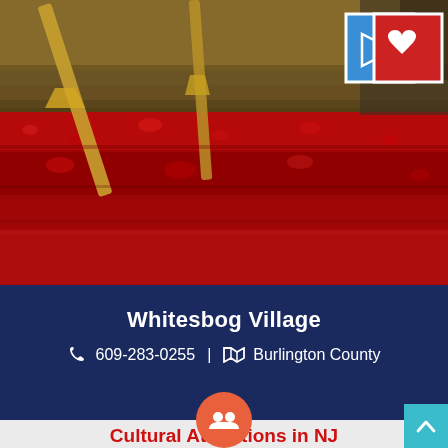[Figure (photo): Cranberry bog harvesting scene with red cranberries floating in water and harvesting equipment in the background. Two UI icon buttons in top right: a map icon (blue) and a heart icon (red).]
Whitesbog Village
609-283-0255 | Burlington County
[Figure (other): Orange circular button with a group/people icon]
Cultural Attractions in NJ
[Figure (other): Five empty star rating icons]
Browns Mills, New Jersey
Learn about the American blueberry culture in NJ!
n